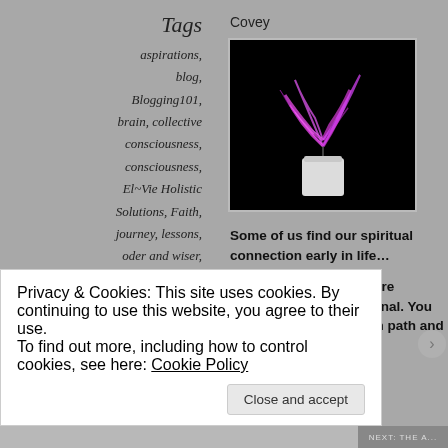Covey
Tags
aspirations, blog, Blogging101, brain, collective consciousness, consciousness, El~Vie Holistic Solutions, Faith, journey, lessons, oder and wiser, philosophy, positive thinking, safe, sage,
[Figure (photo): A white candle with pink/purple smoke-like flame on black background]
Some of us find our spiritual connection early in life…
Our spiritual journeys are individual, highly personal. You have to follow your own path and
Privacy & Cookies: This site uses cookies. By continuing to use this website, you agree to their use. To find out more, including how to control cookies, see here: Cookie Policy
Close and accept